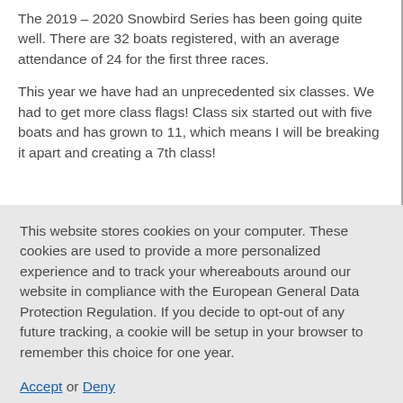The 2019 – 2020 Snowbird Series has been going quite well. There are 32 boats registered, with an average attendance of 24 for the first three races.
This year we have had an unprecedented six classes. We had to get more class flags! Class six started out with five boats and has grown to 11, which means I will be breaking it apart and creating a 7th class!
This website stores cookies on your computer. These cookies are used to provide a more personalized experience and to track your whereabouts around our website in compliance with the European General Data Protection Regulation. If you decide to opt-out of any future tracking, a cookie will be setup in your browser to remember this choice for one year.
Accept or Deny